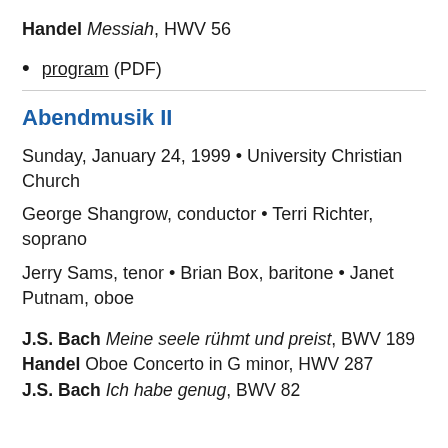Handel Messiah, HWV 56
program (PDF)
Abendmusik II
Sunday, January 24, 1999 • University Christian Church
George Shangrow, conductor • Terri Richter, soprano
Jerry Sams, tenor • Brian Box, baritone • Janet Putnam, oboe
J.S. Bach Meine seele rühmt und preist, BWV 189
Handel Oboe Concerto in G minor, HWV 287
J.S. Bach Ich habe genug, BWV 82